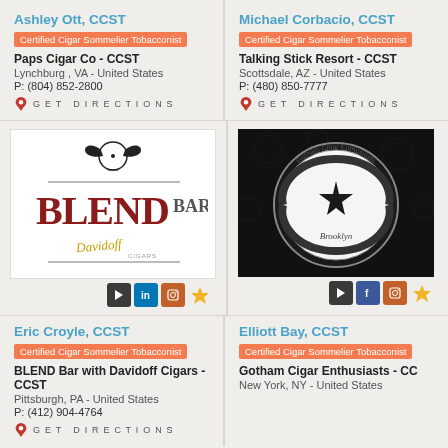Ashley Ott, CCST
Certified Cigar Sommelier Tobacconist
Paps Cigar Co - CCST
Lynchburg , VA - United States
P: (804) 852-2800
GET DIRECTIONS
Michael Corbacio, CCST
Certified Cigar Sommelier Tobacconist
Talking Stick Resort - CCST
Scottsdale, AZ - United States
P: (480) 850-7777
GET DIRECTIONS
[Figure (logo): BLEND Bar with Davidoff Cigars logo on white background]
[Figure (logo): Gotham Cigar Enthusiasts of Brooklyn logo on dark background with circular seal design]
Eric Croyle, CCST
Certified Cigar Sommelier Tobacconist
BLEND Bar with Davidoff Cigars - CCST
Pittsburgh, PA - United States
P: (412) 904-4764
GET DIRECTIONS
Elliott Bay, CCST
Certified Cigar Sommelier Tobacconist
Gotham Cigar Enthusiasts - CCST
New York, NY - United States